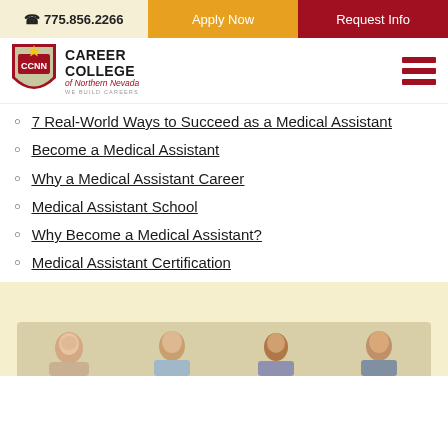775.856.2266 | Apply Now | Request Info
[Figure (logo): Career College of Northern Nevada logo with shield and text 'WE BUILD CAREERS']
7 Real-World Ways to Succeed as a Medical Assistant
Become a Medical Assistant
Why a Medical Assistant Career
Medical Assistant School
Why Become a Medical Assistant?
Medical Assistant Certification
[Figure (photo): Group of people (students/professionals) shown from shoulders up at the bottom of the page]